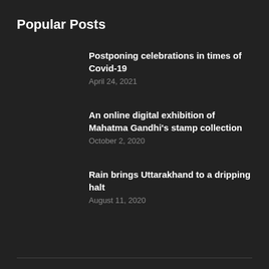Popular Posts
Postponing celebrations in times of Covid-19
April 24, 2021
An online digital exhibition of Mahatma Gandhi's stamp collection
October 2, 2020
Rain brings Uttarakhand to a dripping halt
August 11, 2020